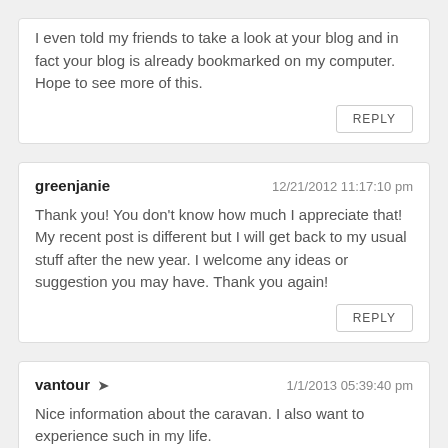I even told my friends to take a look at your blog and in fact your blog is already bookmarked on my computer. Hope to see more of this.
REPLY
greenjanie
12/21/2012 11:17:10 pm
Thank you! You don't know how much I appreciate that! My recent post is different but I will get back to my usual stuff after the new year. I welcome any ideas or suggestion you may have. Thank you again!
REPLY
vantour
1/1/2013 05:39:40 pm
Nice information about the caravan. I also want to experience such in my life.
REPLY
kdsk
1/9/2013 08:51:36 pm